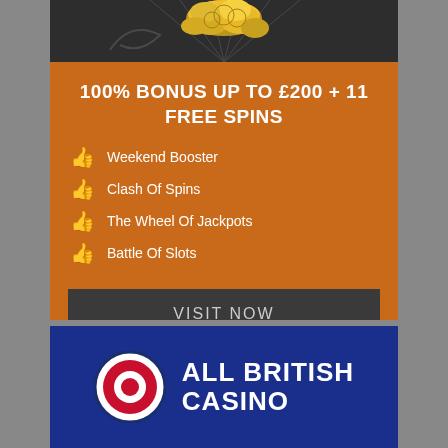[Figure (illustration): Dark background banner with gold coins scattered on top, decorative swirl design]
100% BONUS UP TO £200 + 11 FREE SPINS
👍 Weekend Booster
👍 Clash Of Spins
👍 The Wheel Of Jackpots
👍 Battle Of Slots
VISIT NOW
*Bonus T&C Applied
18+ BeGambleAware. Gamble Responsibly
[Figure (logo): All British Casino logo — blue background with bullseye target icon and ALL BRITISH CASINO text in white]